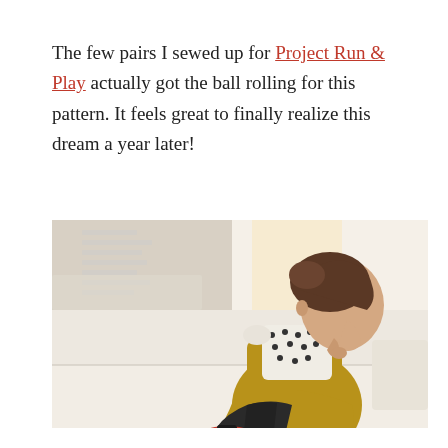The few pairs I sewed up for Project Run & Play actually got the ball rolling for this pattern. It feels great to finally realize this dream a year later!
[Figure (photo): A young toddler girl sitting sideways on a cream/white sofa, viewed from behind/side profile. She is wearing a mustard yellow dress with a white and black polka dot top bodice, black leggings, and red Mary Jane shoes. She appears to be looking out toward a bright window. The background shows a light beige/tan room with soft natural light.]